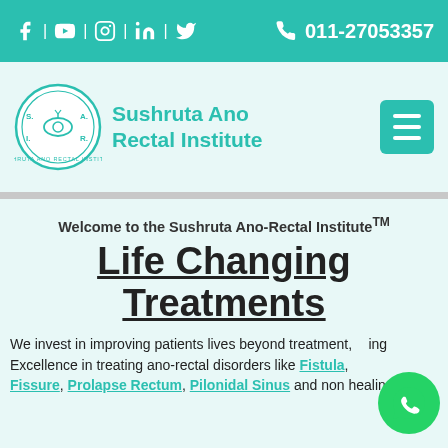f | YouTube | Instagram | in | Twitter   011-27053357
[Figure (logo): Sushruta Ano Rectal Institute (SARI) circular logo with plant/eye motif in teal]
Sushruta Ano Rectal Institute
Welcome to the Sushruta Ano-Rectal Institute™
Life Changing Treatments
We invest in improving patients lives beyond treatment... Excellence in treating ano-rectal disorders like Fistula, Fissure, Prolapse Rectum, Pilonidal Sinus and non healing